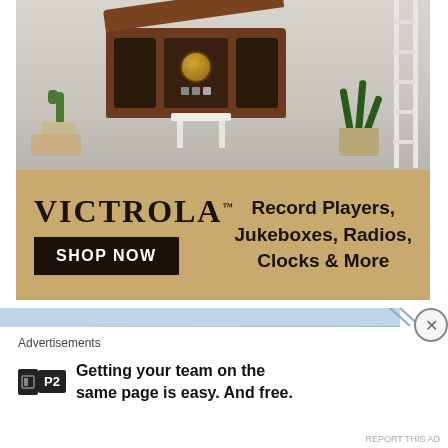[Figure (photo): Victrola advertisement showing a vintage record player/stereo unit on a white stool, flanked by a cactus in a rope pot and a snake plant in a basket, against a light grey room background. Below the photo is a gold banner with the Victrola logo, a 'SHOP NOW' button, and text reading 'Record Players, Jukeboxes, Radios, Clocks & More'.]
[Figure (screenshot): A partial blue navigation or header bar with a close (X) button on the right side.]
Advertisements
Getting your team on the same page is easy. And free.